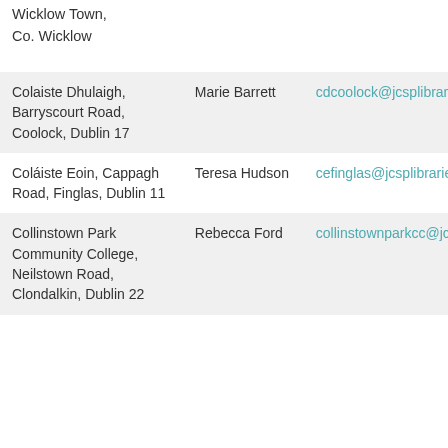Wicklow Town,
Co. Wicklow
| Location | Contact | Email |
| --- | --- | --- |
| Colaiste Dhulaigh, Barryscourt Road, Coolock, Dublin 17 | Marie Barrett | cdcoolock@jcsplibraries.ie |
| Coláiste Eoin, Cappagh Road, Finglas, Dublin 11 | Teresa Hudson | cefinglas@jcsplibraries.ie |
| Collinstown Park Community College, Neilstown Road, Clondalkin, Dublin 22 | Rebecca Ford | collinstownparkcc@jcsplib |